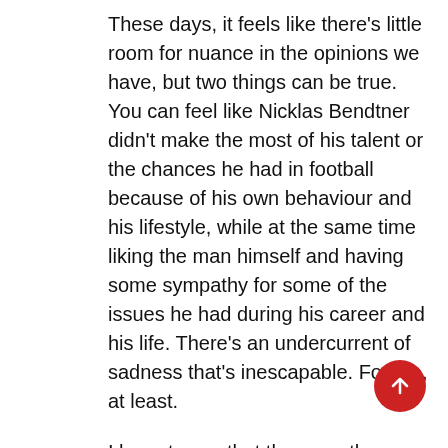These days, it feels like there's little room for nuance in the opinions we have, but two things can be true. You can feel like Nicklas Bendtner didn't make the most of his talent or the chances he had in football because of his own behaviour and his lifestyle, while at the same time liking the man himself and having some sympathy for some of the issues he had during his career and his life. There's an undercurrent of sadness that's inescapable. For me, at least.
I have to say that the co-author, Rune Skyum-Nielsen, has done an excellent job of capturing Bendtner's 'voice' if you like. Many football biographies have a ghost writer, but too often the sound like a writer trying to squeeze in zany anecdote after zany anecdote, and that's not the